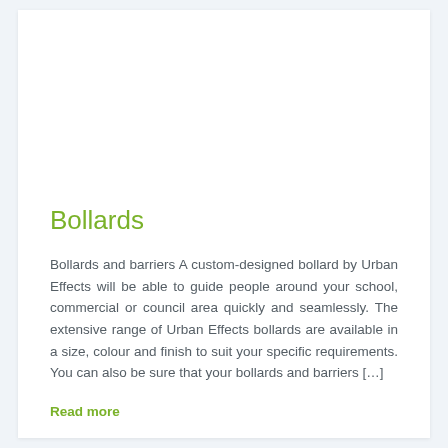Bollards
Bollards and barriers A custom-designed bollard by Urban Effects will be able to guide people around your school, commercial or council area quickly and seamlessly. The extensive range of Urban Effects bollards are available in a size, colour and finish to suit your specific requirements. You can also be sure that your bollards and barriers […]
Read more